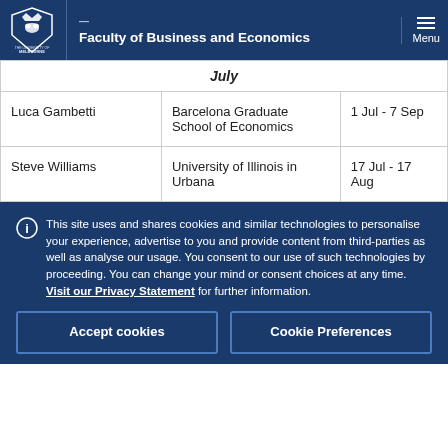Faculty of Business and Economics
|  |  | July |
| --- | --- | --- |
| Luca Gambetti | Barcelona Graduate School of Economics | 1 Jul - 7 Sep |
| Steve Williams | University of Illinois in Urbana | 17 Jul - 17 Aug |
This site uses and shares cookies and similar technologies to personalise your experience, advertise to you and provide content from third-parties as well as analyse our usage. You consent to our use of such technologies by proceeding. You can change your mind or consent choices at any time. Visit our Privacy Statement for further information.
Accept cookies
Cookie Preferences